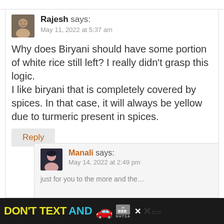Rajesh says: May 11, 2022 at 5:37 am
Why does Biryani should have some portion of white rice still left? I really didn't grasp this logic.
I like biryani that is completely covered by spices. In that case, it will always be yellow due to turmeric present in spices.
Reply
Manali says: May 14, 2022 at 2:49 pm
[Figure (infographic): Ad banner at bottom: DON'T TEXT AND [car emoji] with ad logo and NHTSA text on dark background]